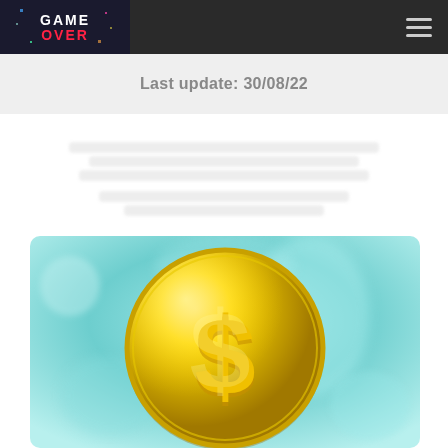Game Over – navigation bar with logo and hamburger menu
Last update: 30/08/22
[Figure (photo): A large gold coin with a dollar sign on it, set against a blurred teal/turquoise background. The coin is golden yellow with a prominent $ symbol embossed on its face.]